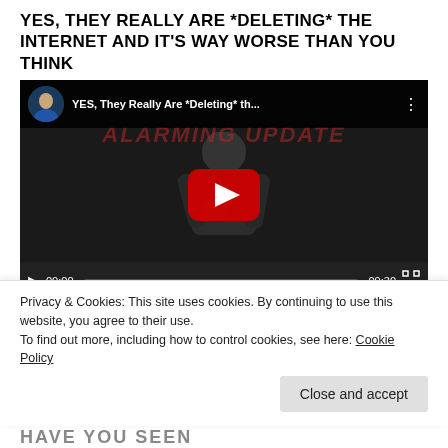YES, THEY REALLY ARE *DELETING* THE INTERNET AND IT'S WAY WORSE THAN YOU THINK
[Figure (screenshot): YouTube video player screenshot showing a dark video thumbnail of a man, with top bar showing avatar, title 'YES, They Really Are *Deleting* th...' and three dots menu. Watermark text 'ALARMING UPDATE' in red italic. Red YouTube play button in center. Video controls bar at bottom showing play button, time 00:00, progress bar, duration 09:30, and fullscreen button.]
Privacy & Cookies: This site uses cookies. By continuing to use this website, you agree to their use.
To find out more, including how to control cookies, see here: Cookie Policy
Close and accept
HAVE YOU SEEN